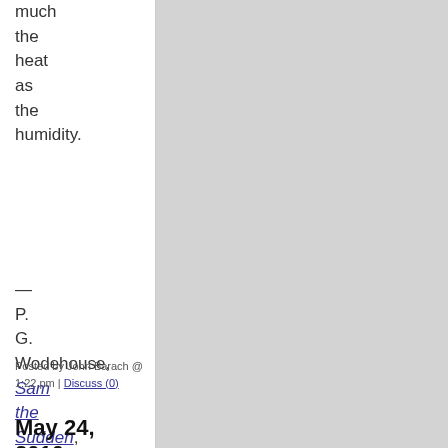much the heat as the humidity.
— P. G. Wodehouse, Sam the Sudden, p. 11.
Posted by John Barach @ 1:22 pm | Discuss (0)
May 24, 2010